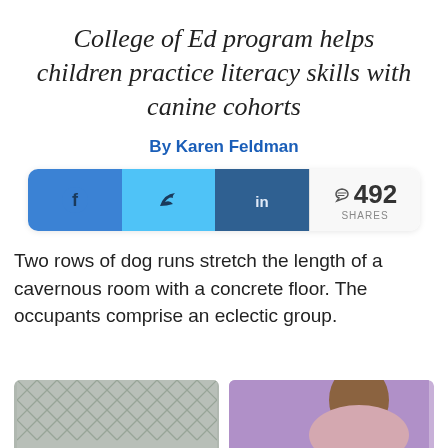College of Ed program helps children practice literacy skills with canine cohorts
By Karen Feldman
[Figure (infographic): Social share bar with Facebook, Twitter, LinkedIn buttons and 492 shares count]
Two rows of dog runs stretch the length of a cavernous room with a concrete floor. The occupants comprise an eclectic group.
[Figure (photo): Two photos side by side at bottom: left shows chain-link fence/kennel, right shows a person with brown hair against purple background]